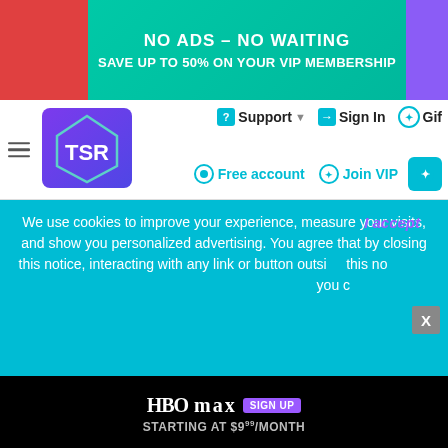[Figure (screenshot): Website advertisement banner: 'NO ADS – NO WAITING / SAVE UP TO 50% ON YOUR VIP MEMBERSHIP' on teal/green background with red left section and purple right section.]
[Figure (screenshot): TSR (The Sims Resource) website navigation bar with hamburger menu, TSR logo, Support dropdown, Sign In, Gift, Free account, Join VIP, and cart button.]
[Figure (screenshot): Sims 4 character screenshot showing a female Sim with long wavy dark red hair wearing a graphic t-shirt, with hair color swatches panel on the right showing 1 mesh, 27 colours, HQ compatible.]
We use cookies to improve your experience, measure your visits, and show you personalized advertising. You agree that by closing this notice, interacting with any link or button outside this notice, or by continuing to browse otherwise, you c
I accept
[Figure (screenshot): HBO Max advertisement banner: 'HBO max SIGN UP STARTING AT $9⁹⁹/MONTH']